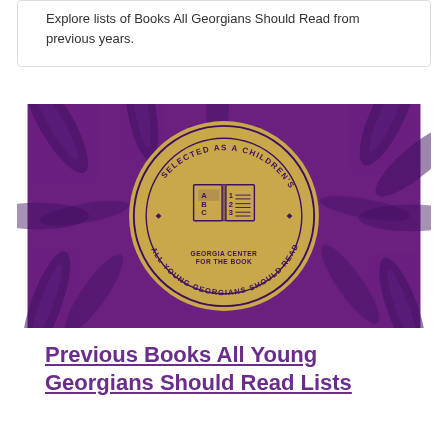Explore lists of Books All Georgians Should Read from previous years.
[Figure (logo): Purple background with decorative peacock feather pattern. Centered gold medallion seal reading 'SELECTED AS A CHILDREN'S BOOK' (top arc) and 'ALL YOUNG GEORGIANS SHOULD READ' (bottom arc), with an open book icon showing ABC and 123, and 'GEORGIA CENTER FOR THE BOOK' text beneath the book.]
Previous Books All Young Georgians Should Read Lists